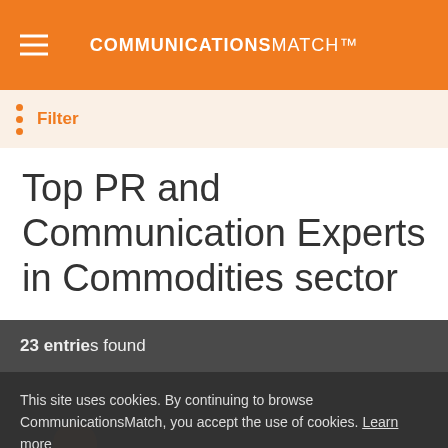COMMUNICATIONSMATCH™
Filter
Top PR and Communication Experts in Commodities sector
23 entries found
This site uses cookies. By continuing to browse CommunicationsMatch, you accept the use of cookies. Learn more
ACCEPT